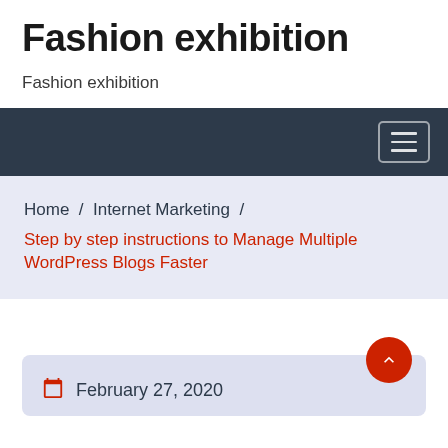Fashion exhibition
Fashion exhibition
Home / Internet Marketing / Step by step instructions to Manage Multiple WordPress Blogs Faster
February 27, 2020